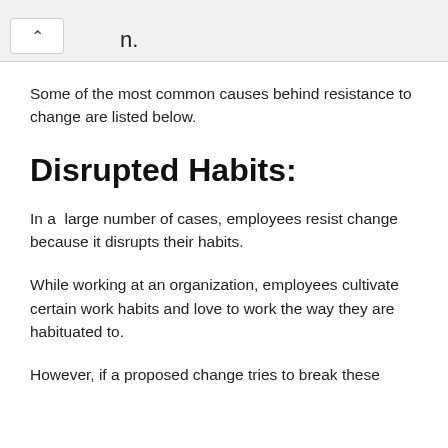n.
Some of the most common causes behind resistance to change are listed below.
Disrupted Habits:
In a  large number of cases, employees resist change because it disrupts their habits.
While working at an organization, employees cultivate certain work habits and love to work the way they are habituated to.
However, if a proposed change tries to break these